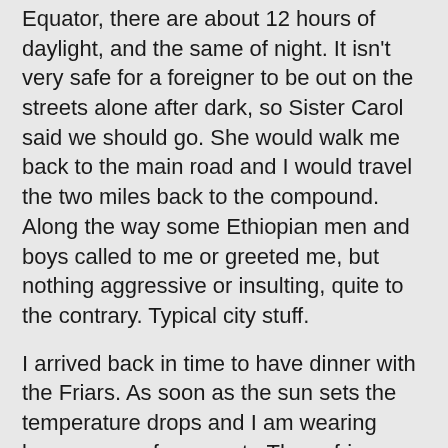Equator, there are about 12 hours of daylight, and the same of night. It isn't very safe for a foreigner to be out on the streets alone after dark, so Sister Carol said we should go. She would walk me back to the main road and I would travel the two miles back to the compound. Along the way some Ethiopian men and boys called to me or greeted me, but nothing aggressive or insulting, quite to the contrary. Typical city stuff.
I arrived back in time to have dinner with the Friars. As soon as the sun sets the temperature drops and I am wearing layers, a scarf, my coat...These friars are Ethiopian Capuchin Franciscans and they wear the long brown robes and white roped belts. This is their central house in the country, so all of their Brothers are traveling through here on their way to somewhere else. I have had many lively and interesting discussions about all corners of Ethiopia. And about the Olympics. They observe a bit of the Eastern rite, so they are on a fast now. This suites me well as we were served amazing Ethiopian vegetarian food with fresh injera. I gave the head Father the bag of fruit from Peter. He totally lit up. And so did the other Friars. There was enough fruit to go